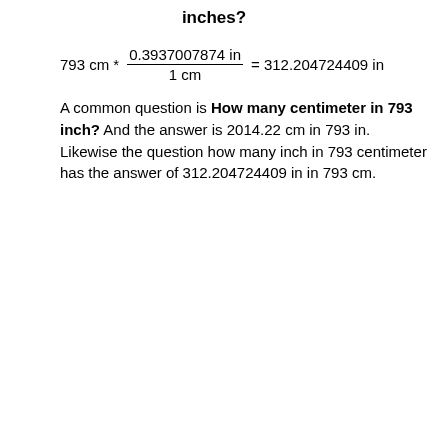inches?
A common question is How many centimeter in 793 inch? And the answer is 2014.22 cm in 793 in. Likewise the question how many inch in 793 centimeter has the answer of 312.204724409 in in 793 cm.